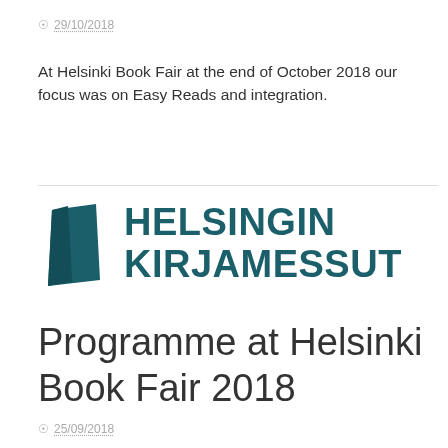⊙ 29/10/2018
At Helsinki Book Fair at the end of October 2018 our focus was on Easy Reads and integration.
[Figure (logo): Helsingin Kirjamessut logo with a teal geometric book/door shape icon on the left and bold teal text 'HELSINGIN KIRJAMESSUT' on the right]
Programme at Helsinki Book Fair 2018
⊙ 25/09/2018